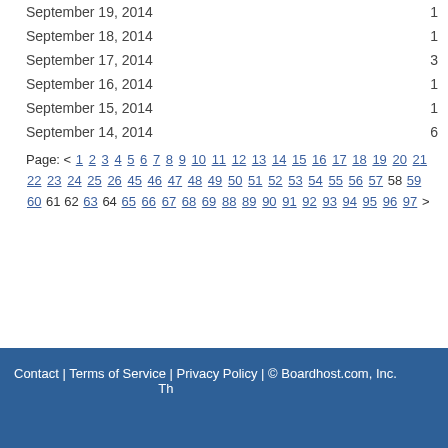September 19, 2014  1
September 18, 2014  1
September 17, 2014  3
September 16, 2014  1
September 15, 2014  1
September 14, 2014  6
Page: < 1 2 3 4 5 6 7 8 9 10 11 12 13 14 15 16 17 18 19 20 21 22 23 24 25 26 ... 45 46 47 48 49 50 51 52 53 54 55 56 57 58 59 60 61 62 63 64 65 66 67 68 69 7... 88 89 90 91 92 93 94 95 96 97 >
Contact | Terms of Service | Privacy Policy | © Boardhost.com, Inc.   Th...